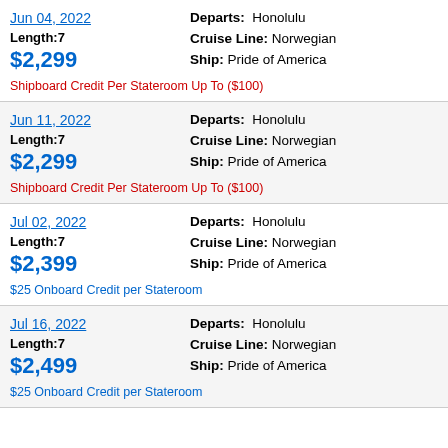Jun 04, 2022 | Departs: &nbspHonolulu | Length:7 | Cruise Line: Norwegian | Ship: Pride of America | Shipboard Credit Per Stateroom Up To ($100) | $2,299
Jun 11, 2022 | Departs: &nbspHonolulu | Length:7 | Cruise Line: Norwegian | Ship: Pride of America | Shipboard Credit Per Stateroom Up To ($100) | $2,299
Jul 02, 2022 | Departs: &nbspHonolulu | Length:7 | Cruise Line: Norwegian | Ship: Pride of America | $25 Onboard Credit per Stateroom | $2,399
Jul 16, 2022 | Departs: &nbspHonolulu | Length:7 | Cruise Line: Norwegian | Ship: Pride of America | $25 Onboard Credit per Stateroom | $2,499